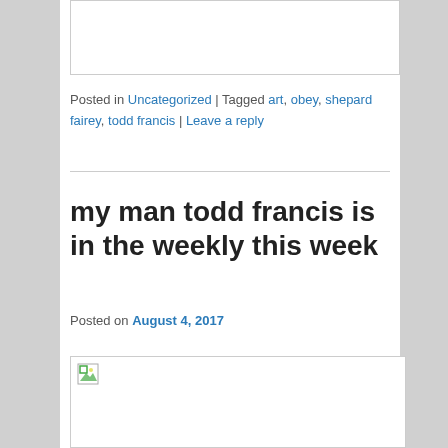[Figure (other): Image placeholder at top of page, blank white rectangle with border]
Posted in Uncategorized | Tagged art, obey, shepard fairey, todd francis | Leave a reply
[Figure (other): Image placeholder at bottom, blank white rectangle with broken image icon]